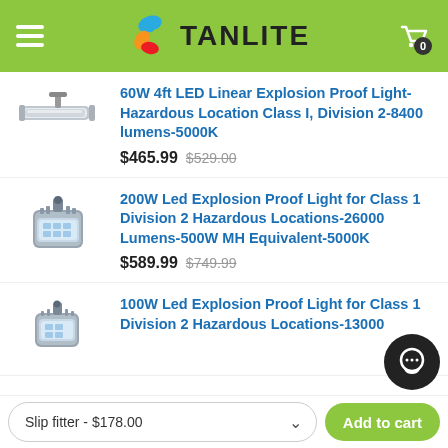TANLITE — Navigation header with hamburger menu and cart (0 items)
60W 4ft LED Linear Explosion Proof Light-Hazardous Location Class I, Division 2-8400 lumens-5000K — $465.99 (was $529.00)
200W Led Explosion Proof Light for Class 1 Division 2 Hazardous Locations-26000 Lumens-500W MH Equivalent-5000K — $589.99 (was $749.99)
100W Led Explosion Proof Light for Class 1 Division 2 Hazardous Locations-13000...
Slip fitter - $178.00 | Add to cart